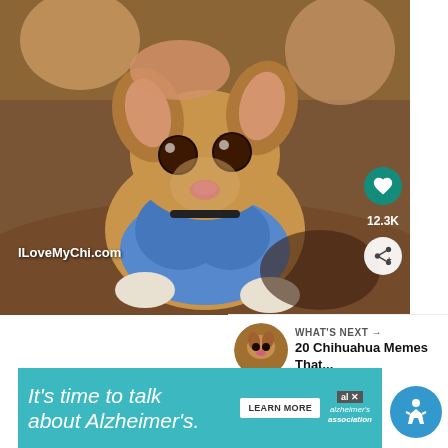[Figure (photo): A small Chihuahua puppy wearing a blue outfit/shirt, looking directly at the camera with large expressive eyes, lying on a brown carpet. White text watermark reads ILoveMyChi.com in the lower left. A teal heart/like button shows 12.3K likes, and a share button is on the right side.]
WHAT'S NEXT → 20 Chihuahua Memes That...
[Figure (photo): Small thumbnail of a Chihuahua face in a circular crop]
It's time to talk about Alzheimer's.
[Figure (logo): Alzheimer's association logo with al+ branding]